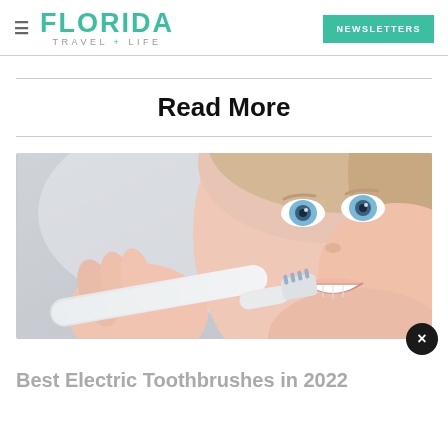FLORIDA TRAVEL + LIFE  |  NEWSLETTERS
Read More
[Figure (photo): Close-up photo of a woman with blue eyes smiling while brushing her teeth with a white electric toothbrush against a light grey background.]
Best Electric Toothbrushes in 2022